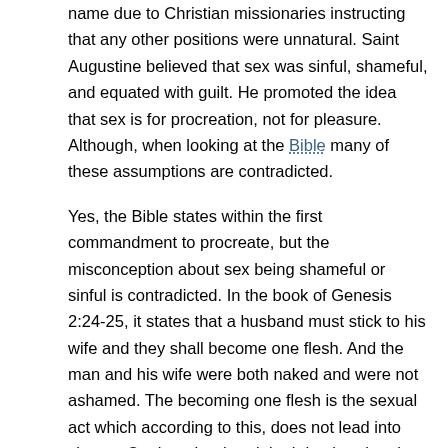name due to Christian missionaries instructing that any other positions were unnatural. Saint Augustine believed that sex was sinful, shameful, and equated with guilt. He promoted the idea that sex is for procreation, not for pleasure. Although, when looking at the Bible many of these assumptions are contradicted.
Yes, the Bible states within the first commandment to procreate, but the misconception about sex being shameful or sinful is contradicted. In the book of Genesis 2:24-25, it states that a husband must stick to his wife and they shall become one flesh. And the man and his wife were both naked and were not ashamed. The becoming one flesh is the sexual act which according to this, does not lead into shame. On the other hand, both husband and wife are